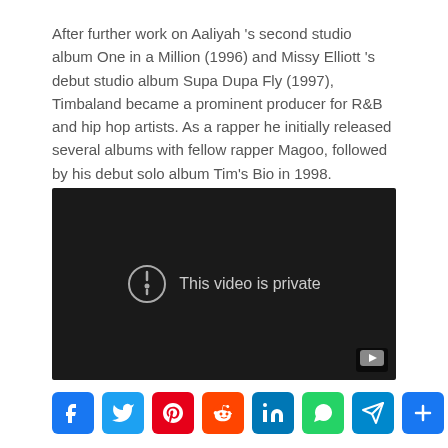After further work on Aaliyah 's second studio album One in a Million (1996) and Missy Elliott 's debut studio album Supa Dupa Fly (1997), Timbaland became a prominent producer for R&B and hip hop artists. As a rapper he initially released several albums with fellow rapper Magoo, followed by his debut solo album Tim's Bio in 1998.
[Figure (screenshot): Embedded video player showing 'This video is private' message with a YouTube logo badge in the bottom right corner. Dark background with a circle-exclamation icon and text.]
[Figure (infographic): Row of social media share buttons: Facebook (blue), Twitter (blue), Pinterest (red), Reddit (orange-red), LinkedIn (blue), WhatsApp (green), Telegram (light blue), Share/Plus (blue)]